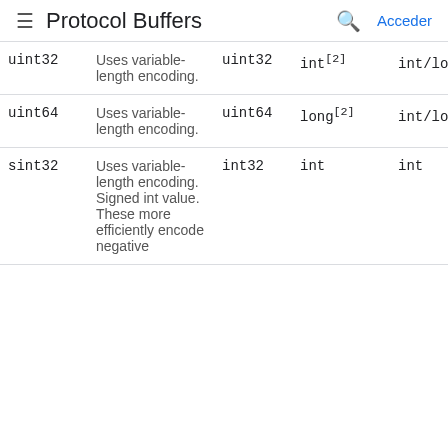Protocol Buffers | Acceder
| Type | Notes | Wire Type | Java | Python | ... |
| --- | --- | --- | --- | --- | --- |
| uint32 | Uses variable-length encoding. | uint32 | int[2] | int/long[4] | ui |
| uint64 | Uses variable-length encoding. | uint64 | long[2] | int/long[4] | ui |
| sint32 | Uses variable-length encoding. Signed int value. These more efficiently encode negative | int32 | int | int | in |